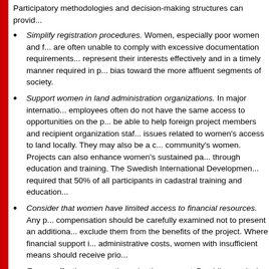Participatory methodologies and decision-making structures can provid...
Simplify registration procedures. Women, especially poor women and f... are often unable to comply with excessive documentation requirements... represent their interests effectively and in a timely manner required in p... bias toward the more affluent segments of society.
Support women in land administration organizations. In major internatio... employees often do not have the same access to opportunities on the p... be able to help foreign project members and recipient organization staf... issues related to women's access to land locally. They may also be a c... community's women. Projects can also enhance women's sustained pa... through education and training. The Swedish International Developmen... required that 50% of all participants in cadastral training and education...
Consider that women have limited access to financial resources. Any p... compensation should be carefully examined not to present an additiona... exclude them from the benefits of the project. Where financial support i... administrative costs, women with insufficient means should receive prio...
Ensure effective access through other support. Providing equity is not e... access to land must also include access to other resources (such as fin... training) and to required support systems (e.g., water, roads, marketing... resources and support, the projects may leave nothing but paper titles f...
Share awareness of the issues and their complexity. Just being aware...